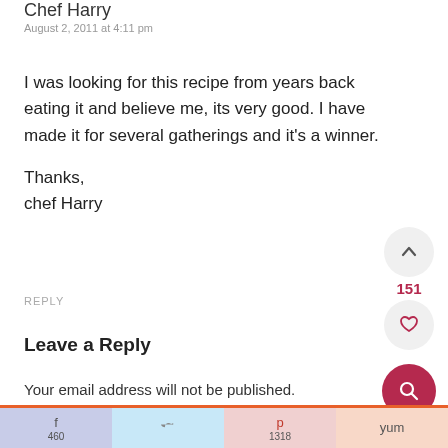Chef Harry
August 2, 2011 at 4:11 pm
I was looking for this recipe from years back eating it and believe me, its very good. I have made it for several gatherings and it's a winner.

Thanks,
chef Harry
REPLY
Leave a Reply
Your email address will not be published.